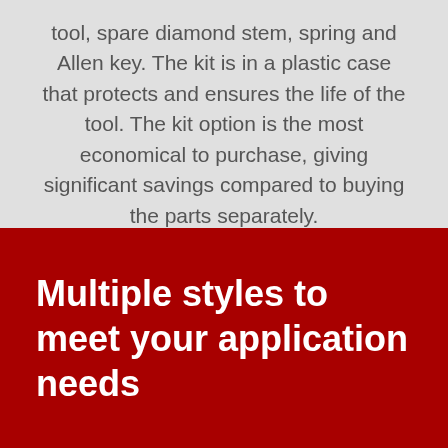tool, spare diamond stem, spring and Allen key. The kit is in a plastic case that protects and ensures the life of the tool. The kit option is the most economical to purchase, giving significant savings compared to buying the parts separately.
Multiple styles to meet your application needs